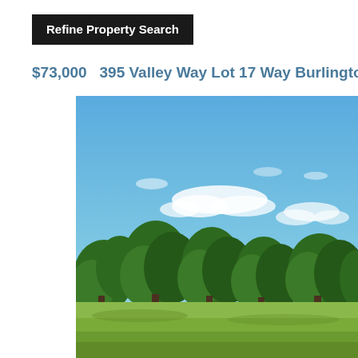Refine Property Search
$73,000   395 Valley Way Lot 17 Way Burlington, IL 60109
[Figure (photo): Outdoor landscape photo showing a wide green grass field in the foreground, a line of large green deciduous trees in the middle ground, and a bright blue sky with scattered white clouds in the background.]